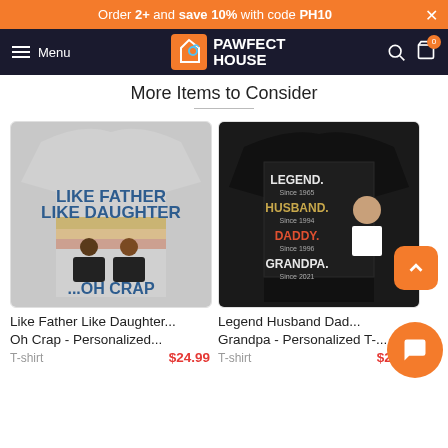Order 2+ and save 10% with code PH10
[Figure (screenshot): Pawfect House navigation bar with hamburger menu, logo, search and cart icons]
More Items to Consider
[Figure (photo): Like Father Like Daughter ...Oh Crap personalized t-shirt product image]
Like Father Like Daughter... Oh Crap - Personalized...
T-shirt   $24.99
[Figure (photo): Legend Husband Daddy Grandpa personalized t-shirt product image on black sweatshirt]
Legend Husband Dad... Grandpa - Personalized T-...
T-shirt   $24.99